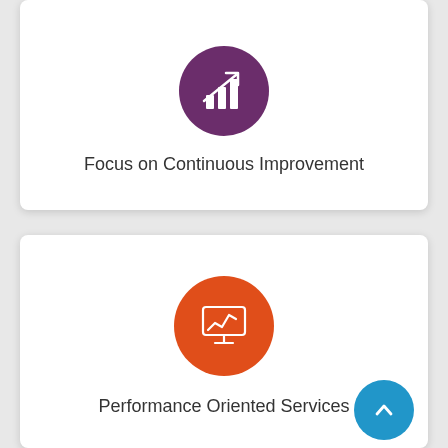[Figure (illustration): Purple circle with a bar chart and upward arrow icon representing continuous improvement]
Focus on Continuous Improvement
[Figure (illustration): Orange circle with a computer monitor showing a performance graph icon representing performance oriented services]
Performance Oriented Services